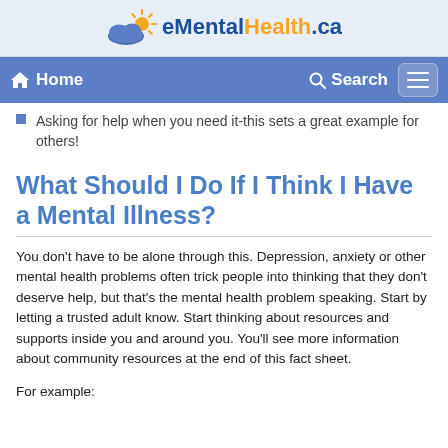eMentalHealth.ca
Home  Search
Asking for help when you need it-this sets a great example for others!
What Should I Do If I Think I Have a Mental Illness?
You don't have to be alone through this. Depression, anxiety or other mental health problems often trick people into thinking that they don't deserve help, but that's the mental health problem speaking. Start by letting a trusted adult know. Start thinking about resources and supports inside you and around you. You'll see more information about community resources at the end of this fact sheet.
For example: